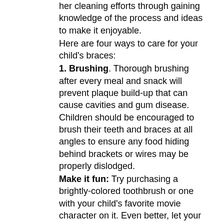her cleaning efforts through gaining knowledge of the process and ideas to make it enjoyable.
Here are four ways to care for your child's braces:
1. Brushing. Thorough brushing after every meal and snack will prevent plaque build-up that can cause cavities and gum disease. Children should be encouraged to brush their teeth and braces at all angles to ensure any food hiding behind brackets or wires may be properly dislodged.
Make it fun: Try purchasing a brightly-colored toothbrush or one with your child's favorite movie character on it. Even better, let your son or daughter pick out his or her own toothbrush. This will empower your child and allow him or her to get excited about brushing. Other children may be spurred to brush more often by using an electric toothbrush at home. This tool may be a great gift if you are getting ready to go Christmas shopping.
2. Flossing. Effective flossing can be a challenge with braces but it is another healthy habit to encourage on a daily basis. As it is nearly impossible to floss normally with braces, using a “threader floss” with a stiff tip or a